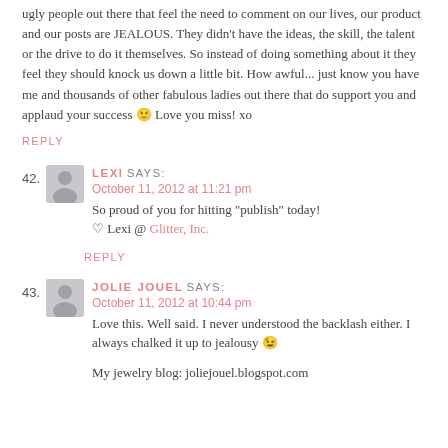ugly people out there that feel the need to comment on our lives, our product and our posts are JEALOUS. They didn't have the ideas, the skill, the talent or the drive to do it themselves. So instead of doing something about it they feel they should knock us down a little bit. How awful... just know you have me and thousands of other fabulous ladies out there that do support you and applaud your success 🙂 Love you miss! xo
REPLY
42. LEXI SAYS:
October 11, 2012 at 11:21 pm
So proud of you for hitting “publish” today!
♡ Lexi @ Glitter, Inc.
REPLY
43. JOLIE JOUEL SAYS:
October 11, 2012 at 10:44 pm
Love this. Well said. I never understood the backlash either. I always chalked it up to jealousy 😉

My jewelry blog: joliejouel.blogspot.com